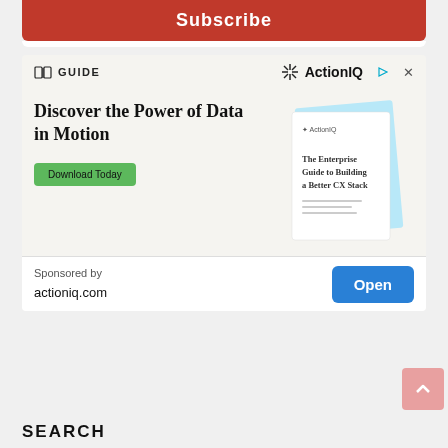Subscribe
[Figure (illustration): Advertisement for ActionIQ featuring a guide titled 'The Enterprise Guide to Building a Better CX Stack'. Contains ActionIQ logo, book icon, headline 'Discover the Power of Data in Motion', a green 'Download Today' button, and an illustration of a document/guide on the right side.]
Sponsored by actioniq.com
Open
SEARCH